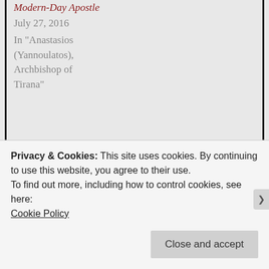Modern-Day Apostle
July 27, 2016
In "Anastasios (Yannoulatos), Archbishop of Tirana"
This entry was posted in Anastasios (Yannoulatos), Archbishop of Tirana, Missions-Missionaries, Modern Orthodox Theologians, Monasticism and Monastery Lessons, Orthodoxy All Over the World, Pilgrimages and tagged Orthodoxy and Missionary Work.
Privacy & Cookies: This site uses cookies. By continuing to use this website, you agree to their use.
To find out more, including how to control cookies, see here:
Cookie Policy
Close and accept